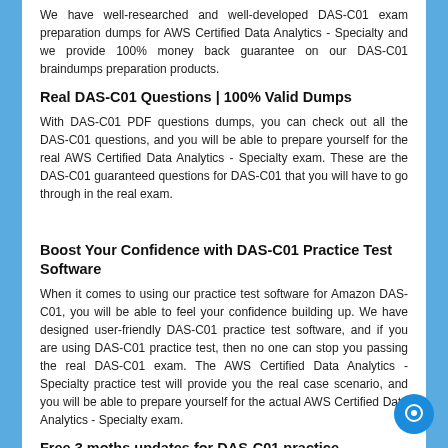We have well-researched and well-developed DAS-C01 exam preparation dumps for AWS Certified Data Analytics - Specialty and we provide 100% money back guarantee on our DAS-C01 braindumps preparation products.
Real DAS-C01 Questions | 100% Valid Dumps
With DAS-C01 PDF questions dumps, you can check out all the DAS-C01 questions, and you will be able to prepare yourself for the real AWS Certified Data Analytics - Specialty exam. These are the DAS-C01 guaranteed questions for DAS-C01 that you will have to go through in the real exam.
Boost Your Confidence with DAS-C01 Practice Test Software
When it comes to using our practice test software for Amazon DAS-C01, you will be able to feel your confidence building up. We have designed user-friendly DAS-C01 practice test software, and if you are using DAS-C01 practice test, then no one can stop you passing the real DAS-C01 exam. The AWS Certified Data Analytics - Specialty practice test will provide you the real case scenario, and you will be able to prepare yourself for the actual AWS Certified Data Analytics - Specialty exam.
Free 3 moths updates for DAS-C01 practice